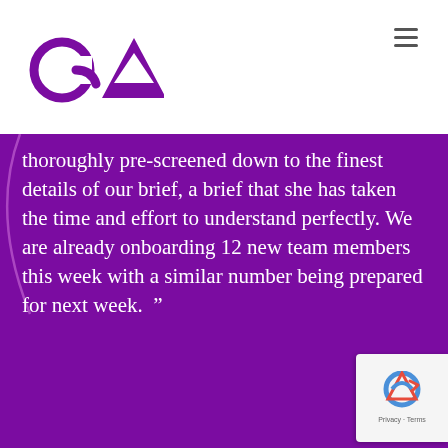OA logo and navigation menu
thoroughly pre-screened down to the finest details of our brief, a brief that she has taken the time and effort to understand perfectly. We are already onboarding 12 new team members this week with a similar number being prepared for next week.  ”
Managing Director
[Figure (other): Carousel navigation dots, four dots with first dot active/white]